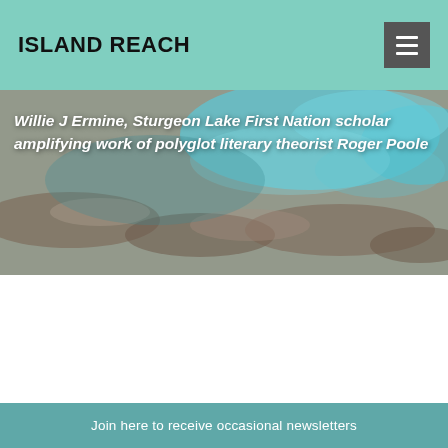ISLAND REACH
Willie J Ermine, Sturgeon Lake First Nation scholar amplifying work of polyglot literary theorist Roger Poole
[Figure (photo): Aerial photograph of shallow coastal water with turquoise water, rocks, and sandy ocean floor visible from above]
Join here to receive occasional newsletters